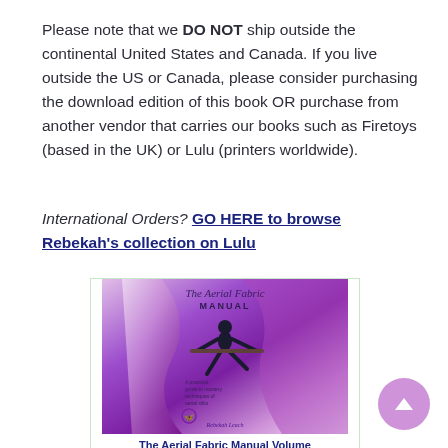Please note that we DO NOT ship outside the continental United States and Canada. If you live outside the US or Canada, please consider purchasing the download edition of this book OR purchase from another vendor that carries our books such as Firetoys (based in the UK) or Lulu (printers worldwide).
International Orders? GO HERE to browse Rebekah's collection on Lulu
[Figure (photo): Book cover of 'The Aerial Fabric Manual' showing a performer on aerial silks with purple fabric, against a light background with stylized script and subtitle text.]
The Aerial Fabric Manual Volume